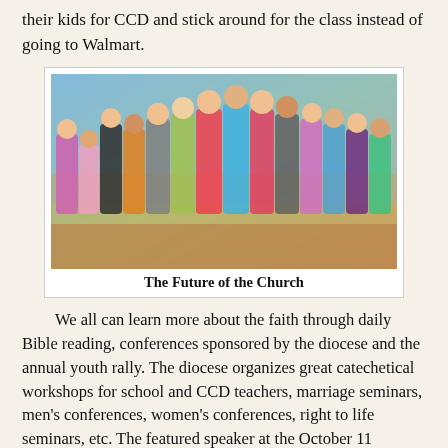their kids for CCD and stick around for the class instead of going to Walmart.
[Figure (photo): Group photo of approximately 25 children of various ages posing together indoors in front of a colorful painted backdrop.]
The Future of the Church
We all can learn more about the faith through daily Bible reading, conferences sponsored by the diocese and the annual youth rally.  The diocese organizes great catechetical workshops for school and CCD teachers, marriage seminars, men's conferences, women's conferences, right to life seminars, etc.  The featured speaker at the October 11 diocesan Youth Rally is a fabulous speaker, Leah Darrow……a top model who underwent a profound conversion to become a role model on dress and chastity. There are so many opportunities for adults and youth to become knowledgeable regarding the faith, but we must take advantage of